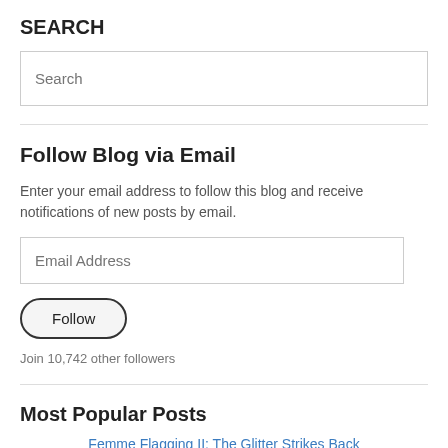SEARCH
[Figure (screenshot): Search input box with placeholder text 'Search']
Follow Blog via Email
Enter your email address to follow this blog and receive notifications of new posts by email.
[Figure (screenshot): Email address input box with placeholder text 'Email Address' and a Follow button below]
Join 10,742 other followers
Most Popular Posts
Femme Flagging II: The Glitter Strikes Back